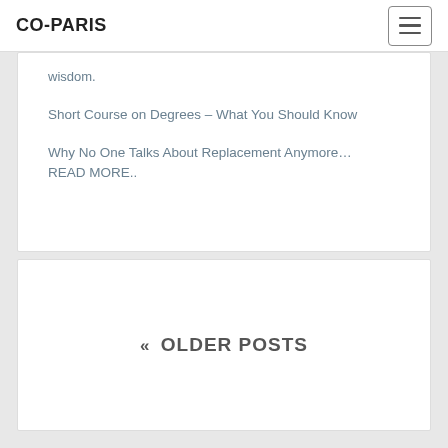CO-PARIS
wisdom.
Short Course on Degrees – What You Should Know
Why No One Talks About Replacement Anymore… READ MORE..
« OLDER POSTS